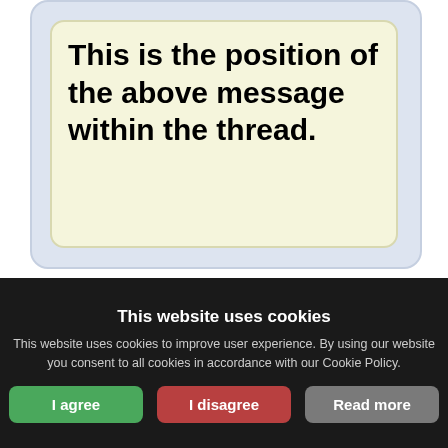This is the position of the above message within the thread.
This website uses cookies
This website uses cookies to improve user experience. By using our website you consent to all cookies in accordance with our Cookie Policy.